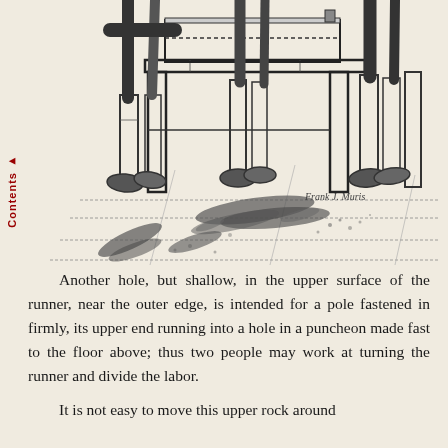[Figure (illustration): Black and white illustration showing people working at a wooden milling or grinding apparatus, with grain/corn scattered on the floor beneath it. Signed 'Frank J. Muris' in the lower right of the illustration.]
Another hole, but shallow, in the upper surface of the runner, near the outer edge, is intended for a pole fastened in firmly, its upper end running into a hole in a puncheon made fast to the floor above; thus two people may work at turning the runner and divide the labor.
It is not easy to move this upper rock around